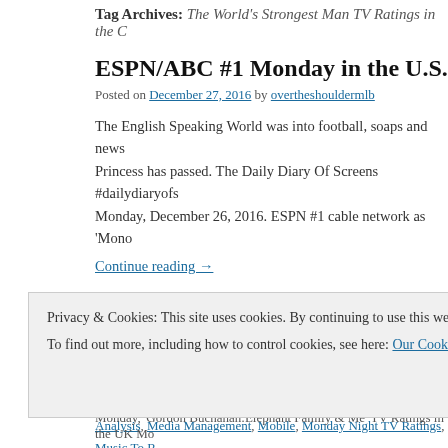Tag Archives: The World's Strongest Man TV Ratings in the UK
ESPN/ABC #1 Monday in the U.S. ITV #1 i
Posted on December 27, 2016 by overtheshouldermlb
The English Speaking World was into football, soaps and news after a Princess has passed. The Daily Diary Of Screens #dailydiaryofs Monday, December 26, 2016. ESPN #1 cable network as 'Mono
Continue reading →
Posted in Audience Analysis, Audience Behavior, Audience Management, Bro TV Ratings in the UK, Broadcast TV Ratings in US, Cable TV Ratings, Cinem TV Ratings, Daily TV Cable Ratings, Data, Digital, Direct, Hispanic TV Rating Analysis, Media Management, Mobile, Monday Night TV Ratings, Music To R overtheshouldermedia by, Television Program Renewals, Television Ratings, Weekend Box Office | Tagged #jessweixler, #sistercitiesthemov, 'A Big Lego C
Current Affair' #1 program in Australia Monday 122616, 'A Current Affair' #1 p
Privacy & Cookies: This site uses cookies. By continuing to use this website, you agree to their use.
To find out more, including how to control cookies, see here: Our Cookie Policy
Close and accept
Monday, 'Gordon Buchanan:Elephant Family & Me' TV Ratings in the UK Mo